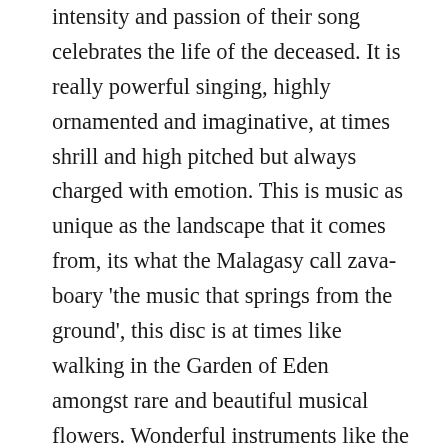intensity and passion of their song celebrates the life of the deceased. It is really powerful singing, highly ornamented and imaginative, at times shrill and high pitched but always charged with emotion. This is music as unique as the landscape that it comes from, its what the Malagasy call zava-boary 'the music that springs from the ground', this disc is at times like walking in the Garden of Eden amongst rare and beautiful musical flowers. Wonderful instruments like the incredible sounding 'Atranatra' xylophone which is played by two women; seated on the ground one player places the tuned wooden bars on her legs in such a way that they can be beaten by both women, an instrument that could have come from the stone age yet played with computer-like rhythmic precision in the hands of natural